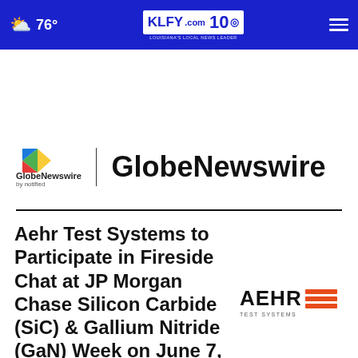76° KLFY.com 10 LOUISIANA'S LOCAL NEWS LEADER
[Figure (logo): GlobeNewswire by notified logo with colorful arrow icon and large bold GlobeNewswire text]
Aehr Test Systems to Participate in Fireside Chat at JP Morgan Chase Silicon Carbide (SiC) & Gallium Nitride (GaN) Week on June 7, 2022
[Figure (logo): AEHR TEST SYSTEMS logo with orange horizontal stripes]